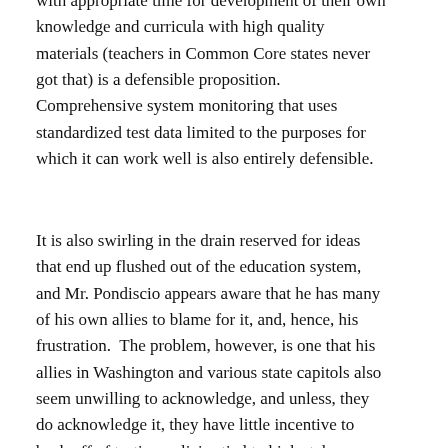with appropriate time for development of their own knowledge and curricula with high quality materials (teachers in Common Core states never got that) is a defensible proposition. Comprehensive system monitoring that uses standardized test data limited to the purposes for which it can work well is also entirely defensible.
It is also swirling in the drain reserved for ideas that end up flushed out of the education system, and Mr. Pondiscio appears aware that he has many of his own allies to blame for it, and, hence, his frustration.  The problem, however, is one that his allies in Washington and various state capitols also seem unwilling to acknowledge, and unless, they do acknowledge it, they have little incentive to back off of testing policies tied to high stakes.